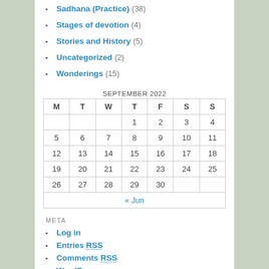Sadhana (Practice) (38)
Stages of devotion (4)
Stories and History (5)
Uncategorized (2)
Wonderings (15)
| M | T | W | T | F | S | S |
| --- | --- | --- | --- | --- | --- | --- |
|  |  |  | 1 | 2 | 3 | 4 |
| 5 | 6 | 7 | 8 | 9 | 10 | 11 |
| 12 | 13 | 14 | 15 | 16 | 17 | 18 |
| 19 | 20 | 21 | 22 | 23 | 24 | 25 |
| 26 | 27 | 28 | 29 | 30 |  |  |
SEPTEMBER 2022
META
Log in
Entries RSS
Comments RSS
WordPress.org